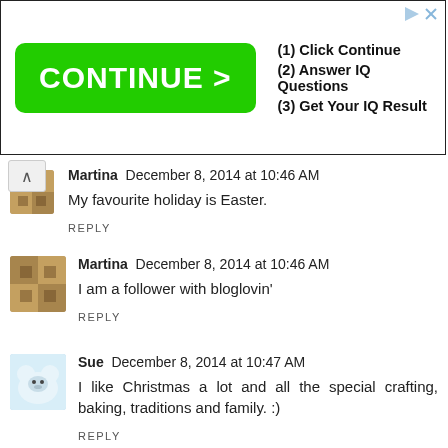[Figure (screenshot): Advertisement banner with green CONTINUE > button and text: (1) Click Continue, (2) Answer IQ Questions, (3) Get Your IQ Result]
Martina  December 8, 2014 at 10:46 AM
My favourite holiday is Easter.
REPLY
Martina  December 8, 2014 at 10:46 AM
I am a follower with bloglovin'
REPLY
Sue  December 8, 2014 at 10:47 AM
I like Christmas a lot and all the special crafting, baking, traditions and family. :)
REPLY